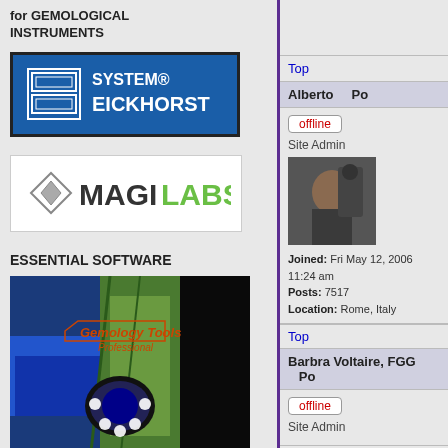for GEMOLOGICAL INSTRUMENTS
[Figure (logo): System Eickhorst logo - blue rectangle with SE symbol and SYSTEM EICKHORST text in white]
[Figure (logo): Magi Labs logo - diamond shape and MAGILABS text]
ESSENTIAL SOFTWARE
[Figure (photo): Gemology Tools Professional software box showing gemstones on dark background]
Top
Alberto
offline
Site Admin
[Figure (photo): Profile photo of Alberto using gemological instrument]
Joined: Fri May 12, 2006 11:24 am
Posts: 7517
Location: Rome, Italy
Top
Barbra Voltaire, FGG
offline
Site Admin